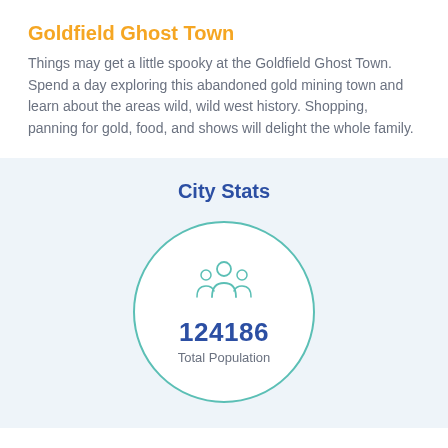Goldfield Ghost Town
Things may get a little spooky at the Goldfield Ghost Town. Spend a day exploring this abandoned gold mining town and learn about the areas wild, wild west history. Shopping, panning for gold, food, and shows will delight the whole family.
City Stats
[Figure (infographic): A circle with a teal/green border containing a family icon illustration and the number 124186 labeled Total Population]